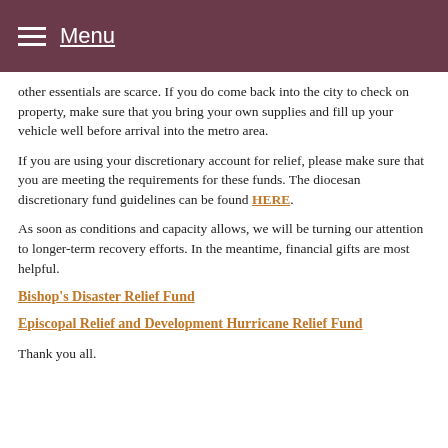Menu
other essentials are scarce. If you do come back into the city to check on property, make sure that you bring your own supplies and fill up your vehicle well before arrival into the metro area.
If you are using your discretionary account for relief, please make sure that you are meeting the requirements for these funds. The diocesan discretionary fund guidelines can be found HERE.
As soon as conditions and capacity allows, we will be turning our attention to longer-term recovery efforts. In the meantime, financial gifts are most helpful.
Bishop's Disaster Relief Fund
Episcopal Relief and Development Hurricane Relief Fund
Thank you all.